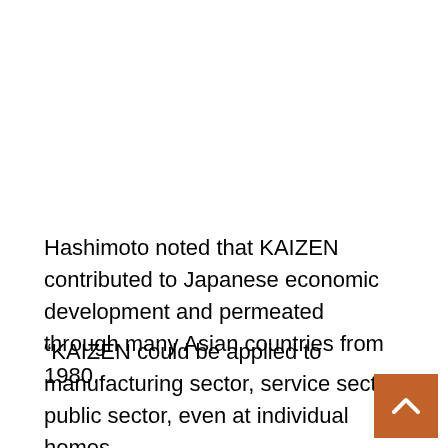Hashimoto noted that KAIZEN contributed to Japanese economic development and permeated through many Asian countries from 1980.
“KAIZEN could be applied to manufacturing sector, service sector, public sector, even at individual homes.